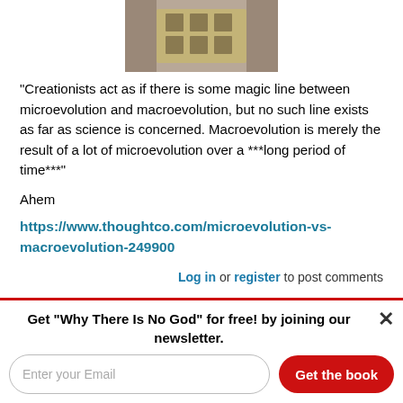[Figure (photo): Partial photo of a person wearing a brown shirt, visible from chest area only, appearing to hold or display something with yellow/green pattern]
"Creationists act as if there is some magic line between microevolution and macroevolution, but no such line exists as far as science is concerned. Macroevolution is merely the result of a lot of microevolution over a ***long period of time***"
Ahem
https://www.thoughtco.com/microevolution-vs-macroevolution-249900
Log in or register to post comments
Get "Why There Is No God" for free! by joining our newsletter.